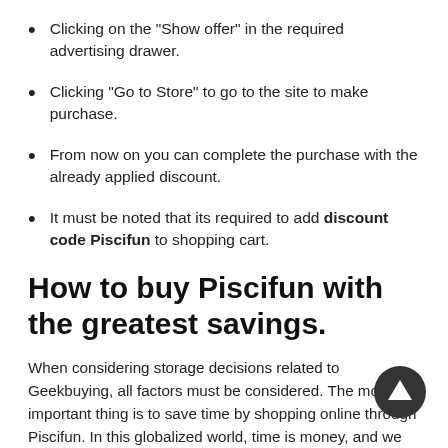Clicking on the "Show offer" in the required advertising drawer.
Clicking "Go to Store" to go to the site to make purchase.
From now on you can complete the purchase with the already applied discount.
It must be noted that its required to add discount code Piscifun to shopping cart.
How to buy Piscifun with the greatest savings.
When considering storage decisions related to Geekbuying, all factors must be considered. The most important thing is to save time by shopping online through Piscifun. In this globalized world, time is money, and we must avoid hesitation and waiting to save time in uncertain moments. Together with discount codes related to promotions and offering thousands of stores, we can save you money and get the best prices. Even on the Internet, your money can